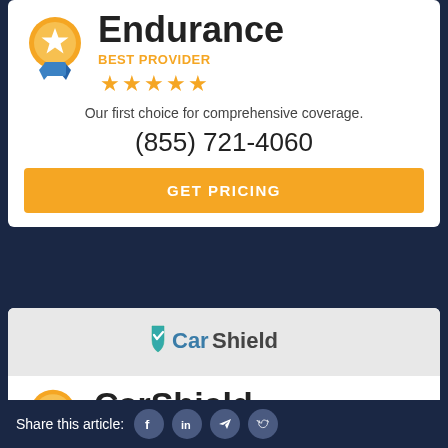Endurance
BEST PROVIDER
[Figure (illustration): Gold award medal with star and blue ribbon]
★★★★★
Our first choice for comprehensive coverage.
(855) 721-4060
GET PRICING
[Figure (logo): CarShield logo with teal shield checkmark icon]
CarShield
BEST VALUE
Share this article: